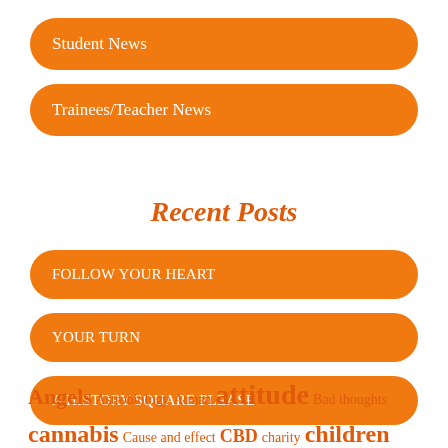Student News
Trainees/Teacher News
Recent Posts
FOLLOW YOUR HEART
YOUR TURN
A HISTORY SQUARE PLEASE
Angels Astrobiology Atman attitude Bad thoughts cannabis Cause and effect CBD charity children Covid